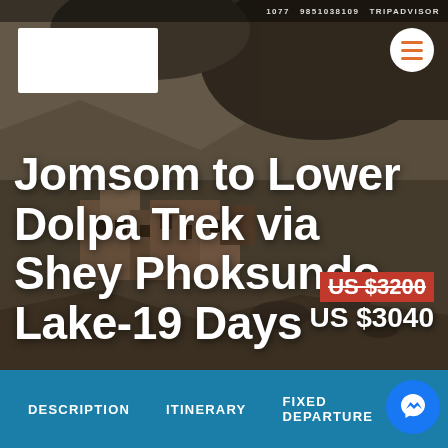TRIPADVISOR
[Figure (photo): Background photo of ancient stone buildings/monastery built into rocky cliff face in a mountainous region, likely Nepal/Dolpa area. Dark rocky landscape with ruined or aged stone structures.]
Jomsom to Lower Dolpa Trek via Shey Phoksundo Lake-19 Days
US $3200 (strikethrough original price)
US $3040
DESCRIPTION   ITINERARY   FIXED DEPARTURE